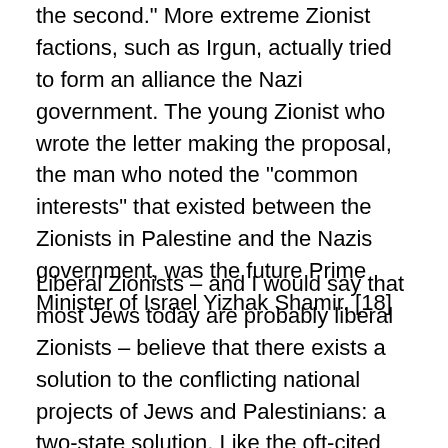the second." More extreme Zionist factions, such as Irgun, actually tried to form an alliance the Nazi government. The young Zionist who wrote the letter making the proposal, the man who noted the "common interests" that existed between the Zionists in Palestine and the Nazis government, was the future Prime Minister of Israel Yizhak Shamir. [18]
Liberal Zionists – and I would say that most Jews today are probably liberal Zionists – believe that there exists a solution to the conflicting national projects of Jews and Palestinians: a two-state solution. Like the oft-cited "critics" one finds in Israel, liberal Zionists may openly dislike one or another Israeli leader – maybe Sharon, maybe Netanyahu – support the creation of a Palestinian state,